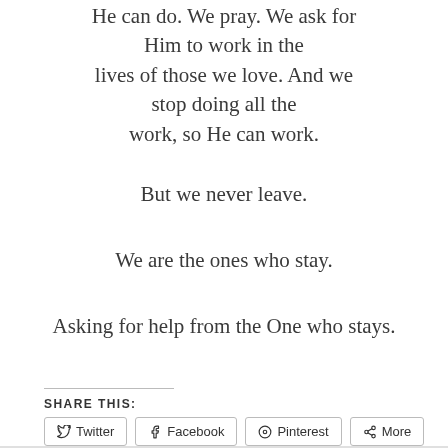He can do. We pray. We ask for Him to work in the lives of those we love. And we stop doing all the work, so He can work.
But we never leave.
We are the ones who stay.
Asking for help from the One who stays.
SHARE THIS:
Twitter  Facebook  Pinterest  More
Like
One blogger likes this.